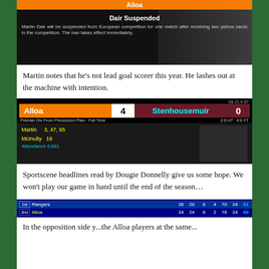[Figure (screenshot): TV broadcast screenshot showing 'Dair Suspended' news overlay with text: Martin Dair will be suspended from European competition for one match after receiving two yellow cards in the competition. The ban takes effect immediately. Orange Alloa score bar at top.]
Martin notes that he's not lead goal scorer this year. He lashes out at the machine with intention.
[Figure (screenshot): TV broadcast screenshot showing football score: Alloa 4 Stenhousemuir 0. Premier Div From Precession Plan - Full Time. Scorers: Martin 3, 47, 65; McInulty 19. Attendance 8,881.]
Sportscene headlines read by Dougie Donnelly give us some hope. We won't play our game in hand until the end of the season…
[Figure (screenshot): TV broadcast league table screenshot showing: 1st Rangers 36 26 6 4 70 24 81. 2nd Alloa 34 24 6 2 78 24 60.]
In the opposition side y...the Alloa players at the same...